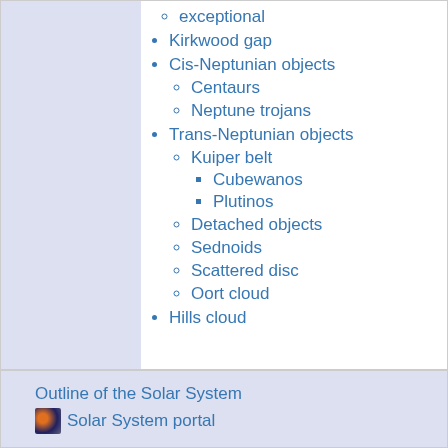exceptional
Kirkwood gap
Cis-Neptunian objects
Centaurs
Neptune trojans
Trans-Neptunian objects
Kuiper belt
Cubewanos
Plutinos
Detached objects
Sednoids
Scattered disc
Oort cloud
Hills cloud
Outline of the Solar System
Solar System portal